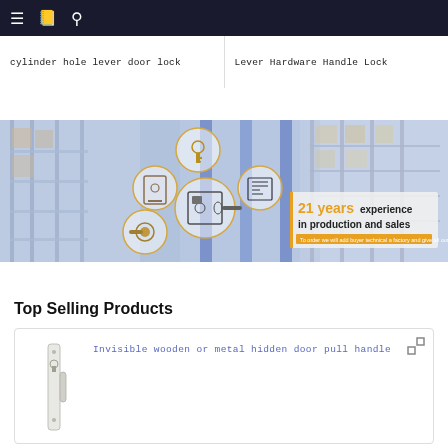Navigation bar with menu, book, and search icons
cylinder hole lever door lock
Lever Hardware Handle Lock
[Figure (photo): Promotional banner for hardware/door lock company showing warehouse shelves background with circular product images (door lock components) and text '21 years experience in production and sales']
Top Selling Products
Invisible wooden or metal hidden door pull handle